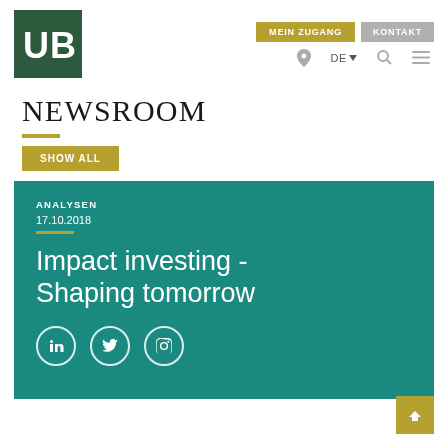[Figure (logo): UBP bank logo - white letters UBP on dark green square background]
MEIN ZUGANG   KONTAKT   DE   [location icon] [search icon] [menu icon]
NEWSROOM
SHOW ALL
ANALYSEN
17.10.2018
Impact investing - Shaping tomorrow